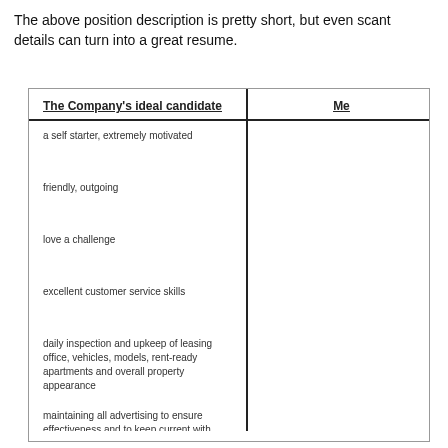The above position description is pretty short, but even scant details can turn into a great resume.
| The Company's ideal candidate | Me |
| --- | --- |
| a self starter, extremely motivated |  |
| friendly, outgoing |  |
| love a challenge |  |
| excellent customer service skills |  |
| daily inspection and upkeep of leasing office, vehicles, models, rent-ready apartments and overall property appearance |  |
| maintaining all advertising to ensure effectiveness and to keep current with changing prices and specials |  |
| have daily meetings to set goals and review individual and team goals |  |
| supervising and training a team of 4 Leasing Consultants |  |